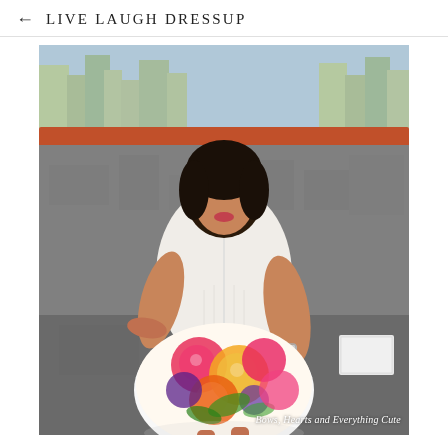← LIVE LAUGH DRESSUP
[Figure (photo): A woman standing on a rooftop with a city skyline in the background. She is wearing a white fitted 3/4 sleeve button-up top and a colorful floral midi skirt with pink, yellow, orange, and purple flowers. She wears pink flat shoes and a silver bracelet. The background shows a concrete wall/ledge and urban cityscape. Watermark reads: Bows, Hearts and Everything Cute]
Bows, Hearts and Everything Cute